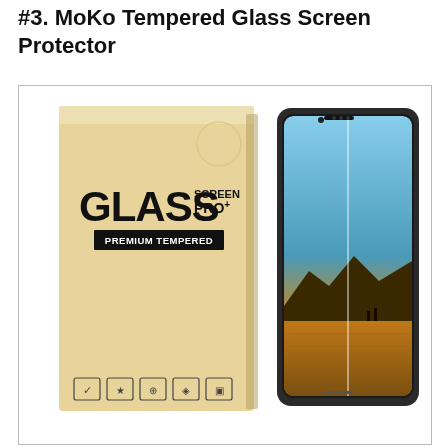#3. MoKo Tempered Glass Screen Protector
[Figure (photo): Product photo showing MoKo Tempered Glass Screen Protector packaging (kraft-colored box with GLASS SCREEN PRO+ PREMIUM TEMPERED branding and feature icons) on the left, and a Samsung Galaxy phone with the screen protector applied on the right, showing a landscape/sunset wallpaper.]